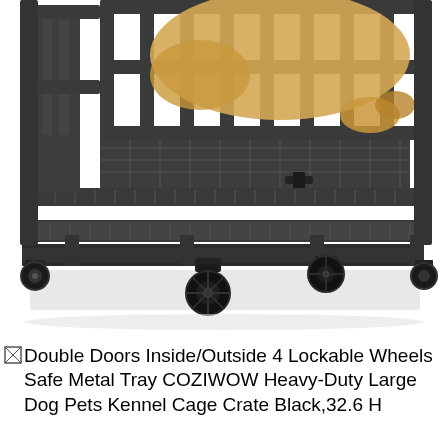[Figure (photo): Close-up photo of a heavy-duty black metal dog kennel cage crate on lockable caster wheels. A dog (appears to be a yellow Labrador) is resting inside. The image shows the bottom portion of the cage with a metal tray, grid flooring, and black rubber caster wheels. White background.]
Double Doors Inside/Outside 4 Lockable Wheels Safe Metal Tray COZIWOW Heavy-Duty Large Dog Pets Kennel Cage Crate Black,32.6 H